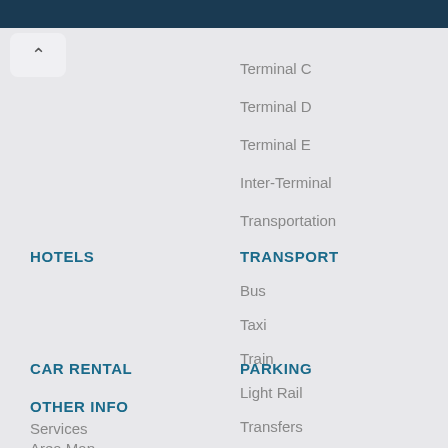[Figure (screenshot): Dark navy top bar of a website/app navigation]
Terminal C
Terminal D
Terminal E
Inter-Terminal
Transportation
HOTELS
TRANSPORT
Bus
Taxi
Train
Light Rail
Transfers
CAR RENTAL
PARKING
OTHER INFO
Services
Area Map